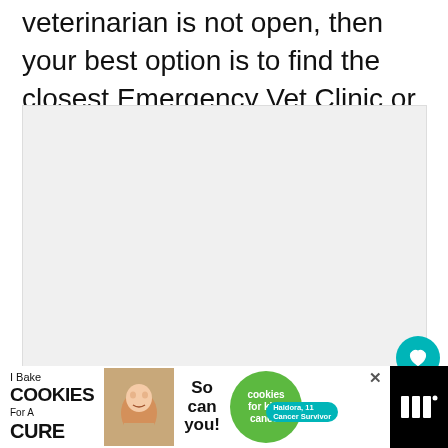veterinarian is not open, then your best option is to find the closest Emergency Vet Clinic or Animal Hospital near Pacifica.
[Figure (other): Large light grey placeholder image box with three small dots at the bottom center indicating a slideshow or carousel]
[Figure (infographic): Advertisement banner at the bottom: 'I Bake COOKIES For A CURE' featuring Haldora, 11 Cancer Survivor with a cookies for kids cancer badge and 'So can you!' text, with a close button and a logo on the right side]